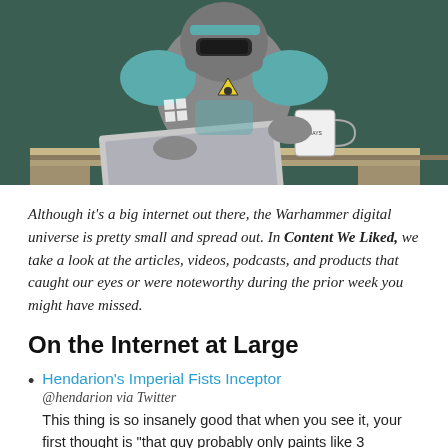[Figure (illustration): Illustration of a robot/Space Marine in teal and grey armor sitting at a desk using a Microsoft Surface laptop, holding a mug that says 'I NDAYS', wearing a yellow hazard sign badge, against a dark green background. Desk is wooden with grey legs.]
Although it's a big internet out there, the Warhammer digital universe is pretty small and spread out. In Content We Liked, we take a look at the articles, videos, podcasts, and products that caught our eyes or were noteworthy during the prior week you might have missed.
On the Internet at Large
Henendarion's Imperial Fists Inceptor
@hendarion via Twitter
This thing is so insanely good that when you see it, your first thought is "that guy probably only paints like 3